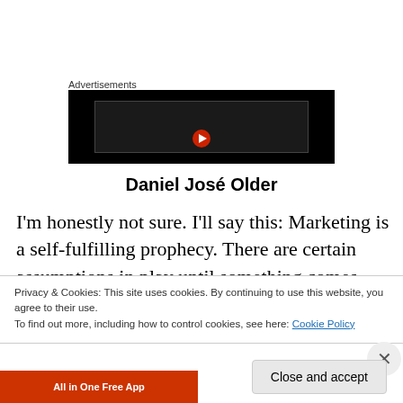Advertisements
[Figure (screenshot): Black advertisement box with a dark inner rectangle and a red play button icon at the bottom center]
Daniel José Older
I'm honestly not sure. I'll say this: Marketing is a self-fulfilling prophecy. There are certain assumptions in play until something comes along that ruptures them. And this
Privacy & Cookies: This site uses cookies. By continuing to use this website, you agree to their use.
To find out more, including how to control cookies, see here: Cookie Policy
Close and accept
[Figure (screenshot): Bottom advertisement bar with orange-red left half reading 'All in One Free App' and white right half reading 'DuckDuckGo']